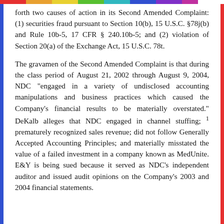forth two causes of action in its Second Amended Complaint: (1) securities fraud pursuant to Section 10(b), 15 U.S.C. §78j(b) and Rule 10b-5, 17 CFR § 240.10b-5; and (2) violation of Section 20(a) of the Exchange Act, 15 U.S.C. 78t.
The gravamen of the Second Amended Complaint is that during the class period of August 21, 2002 through August 9, 2004, NDC "engaged in a variety of undisclosed accounting manipulations and business practices which caused the Company's financial results to be materially overstated." DeKalb alleges that NDC engaged in channel stuffing; 1 prematurely recognized sales revenue; did not follow Generally Accepted Accounting Principles; and materially misstated the value of a failed investment in a company known as MedUnite. E&Y is being sued because it served as NDC's independent auditor and issued audit opinions on the Company's 2003 and 2004 financial statements.